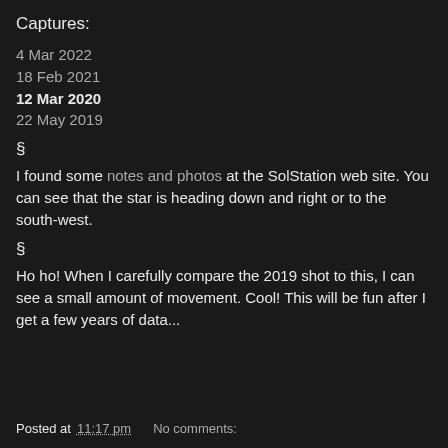Captures:
4 Mar 2022
18 Feb 2021
12 Mar 2020
22 May 2019
§
I found some notes and photos at the SolStation web site. You can see that the star is heading down and right or to the south-west.
§
Ho ho! When I carefully compare the 2019 shot to this, I can see a small amount of movement. Cool! This will be fun after I get a few years of data...
Posted at 11:17 pm    No comments: